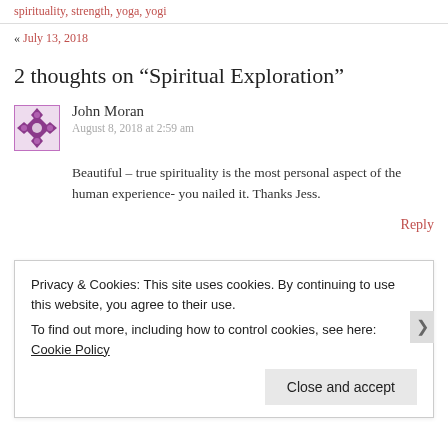spirituality, strength, yoga, yogi
« July 13, 2018
2 thoughts on “Spiritual Exploration”
[Figure (illustration): Purple decorative avatar icon with floral/geometric pattern]
John Moran
August 8, 2018 at 2:59 am
Beautiful – true spirituality is the most personal aspect of the human experience- you nailed it. Thanks Jess.
Reply
Privacy & Cookies: This site uses cookies. By continuing to use this website, you agree to their use.
To find out more, including how to control cookies, see here: Cookie Policy
Close and accept